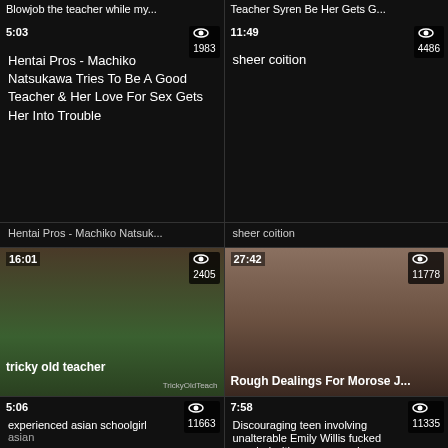[Figure (screenshot): Video grid thumbnail page showing adult video thumbnails in a 2-column layout]
Blowjob the teacher while my...
Teacher Syren De Her Gets G...
5:03 Hentai Pros - Machiko Natsukawa Tries To Be A Good Teacher & Her Love For Sex Gets Her Into Trouble | views: 1983
11:49 sheer coition | views: 4486
Hentai Pros - Machiko Natsuk...
sheer coition
16:01 tricky old teacher | views: 2405
27:42 Rough Dealings For Morose J... | views: 11778
5:06 experienced asian schoolgirl asian | views: 11663
7:58 Discouraging teen involving unalterable Emily Willis fucked coupled with cum sprayed | views: 11335